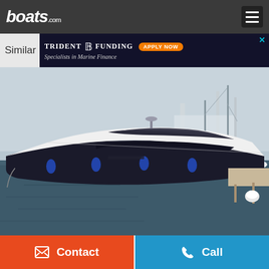boats.com
Similar
[Figure (screenshot): Trident Funding advertisement banner with orange Apply Now button and boat image. Text: TRIDENT FUNDING - Specialists in Marine Finance]
[Figure (photo): A large luxury motor yacht moored in a marina. The yacht is black and white with a sporty profile. Other sailboats are visible in the background. The sky is overcast.]
Contact
Call